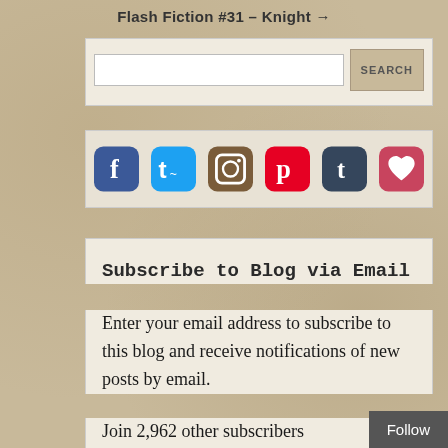Flash Fiction #31 – Knight →
[Figure (screenshot): Search bar with text input field and SEARCH button]
[Figure (infographic): Social media icons: Facebook, Twitter, Instagram, Pinterest, Tumblr, heart/favorite]
Subscribe to Blog via Email
Enter your email address to subscribe to this blog and receive notifications of new posts by email.
Join 2,962 other subscribers